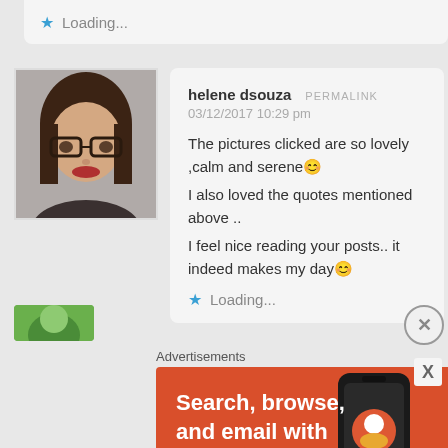Loading...
[Figure (photo): Avatar photo of helene dsouza — woman with glasses]
helene dsouza  PERMALINK
03/12/2017 10:29 pm

The pictures clicked are so lovely ,calm and serene 😊
I also loved the quotes mentioned above ..
I feel nice reading your posts.. it indeed makes my day 😊
★  Loading...
[Figure (screenshot): Partial next commenter avatar — green/teal colored partial image]
Advertisements
[Figure (infographic): Orange DuckDuckGo ad: Search, browse, and email with more privacy. Shows phone with DuckDuckGo logo.]
[Figure (infographic): SHE Partner Network teal ad: Earning site & social revenue, Traffic growth, Speaking on our stages. LEARN MORE button.]